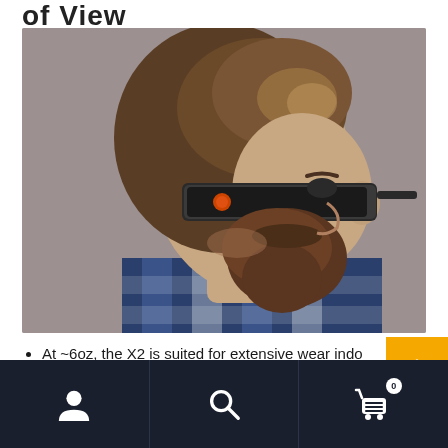of View
[Figure (photo): Man wearing AR/smart glasses (X2 model), side profile, bearded, wearing plaid shirt, gray background]
At ~6oz, the X2 is suited for extensive wear indoors and outdoors.
A 43 degree field of view is equivalent to an 80" display...
Bottom navigation bar with user, search, and cart (0) icons